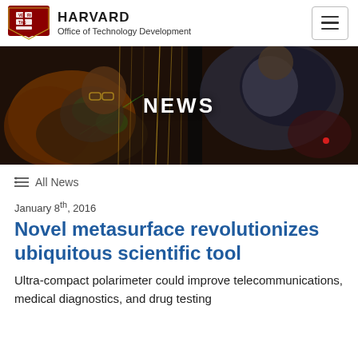HARVARD Office of Technology Development
[Figure (photo): Two researchers working in a laboratory with green laser light and equipment, with overlay text NEWS]
All News
January 8th, 2016
Novel metasurface revolutionizes ubiquitous scientific tool
Ultra-compact polarimeter could improve telecommunications, medical diagnostics, and drug testing